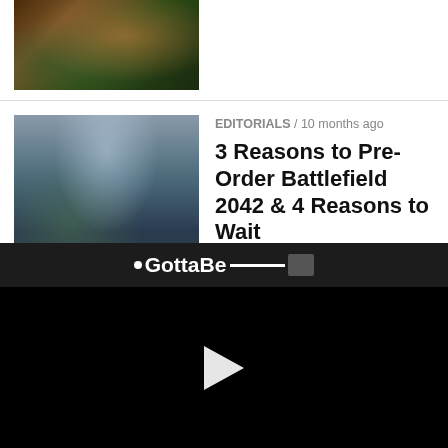[Figure (photo): Partial thumbnail of a game screenshot cropped at top]
[Figure (photo): Battlefield 2042 screenshot showing soldiers parachuting over a city]
EDITORIALS / 10 months ago
3 Reasons to Pre-Order Battlefield 2042 & 4 Reasons to Wait
.
[Figure (screenshot): GottaBe logo bar and video player with play button on black background]